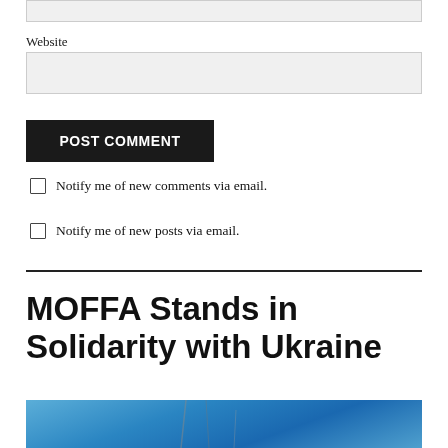Website
POST COMMENT
Notify me of new comments via email.
Notify me of new posts via email.
MOFFA Stands in Solidarity with Ukraine
[Figure (photo): Partial view of a blue sky photo, cut off at the bottom of the page, with what appears to be plant stalks in the foreground.]